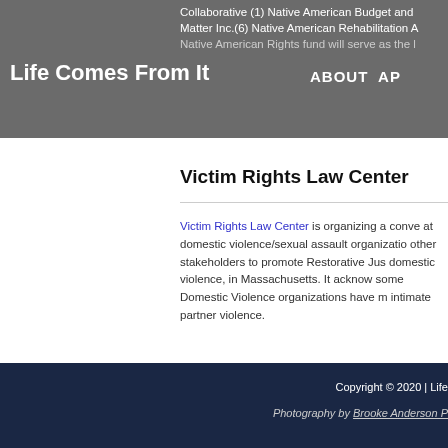Collaborative (1) Native American Budget and Matter Inc.(6) Native American Rehabilitation A Native American Rights fund will serve as the l
Life Comes From It  ABOUT  AP
Victim Rights Law Center
Victim Rights Law Center is organizing a conve at domestic violence/sexual assault organizatio other stakeholders to promote Restorative Jus domestic violence, in Massachusetts. It acknow some Domestic Violence organizations have m intimate partner violence.
Copyright © 2020 | Life Photography by Brooke Anderson P